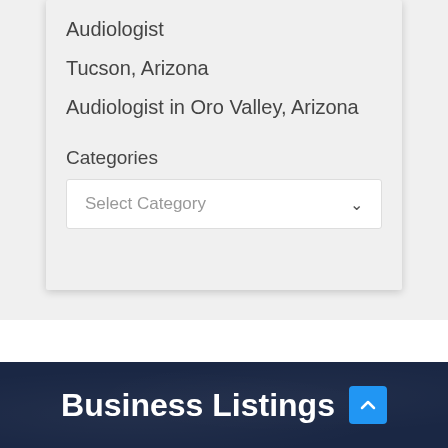Audiologist
Tucson, Arizona
Audiologist in Oro Valley, Arizona
Categories
Select Category
Business Listings